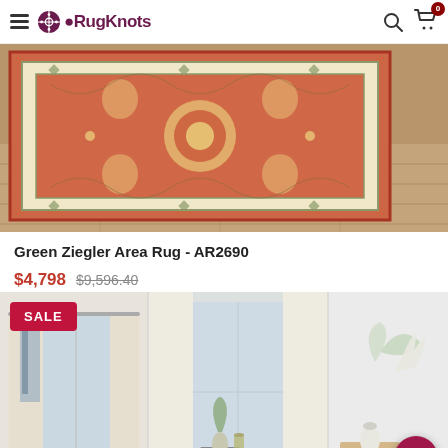RugKnots
[Figure (photo): Green Ziegler Area Rug AR2690 displayed on wooden floor, orange/terracotta and cream colored traditional Persian-style rug]
Green Ziegler Area Rug - AR2690
$4,798  $9,596.40  Free Shipping
[Figure (photo): Room setting photos showing curtains and home decor with SALE badge overlay]